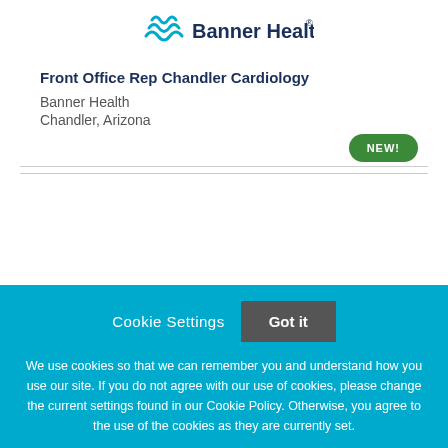[Figure (logo): Banner Health logo with wave icon and text]
Front Office Rep Chandler Cardiology
Banner Health
Chandler, Arizona
[Figure (other): NEW! badge in green]
Cookie Settings  Got it
We use cookies so that we can remember you and understand how you use our site. If you do not agree with our use of cookies, please change the current settings found in our Cookie Policy. Otherwise, you agree to the use of the cookies as they are currently set.